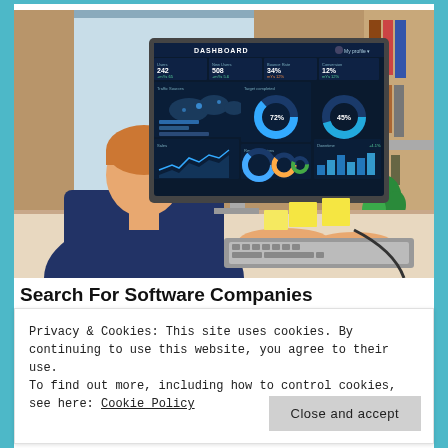[Figure (photo): Person viewed from behind working at a desktop computer displaying a business analytics dashboard with charts, maps, metrics and graphs on a dark blue screen. Sticky notes are visible on the desk.]
Search For Software Companies
Privacy & Cookies: This site uses cookies. By continuing to use this website, you agree to their use.
To find out more, including how to control cookies, see here: Cookie Policy
Close and accept